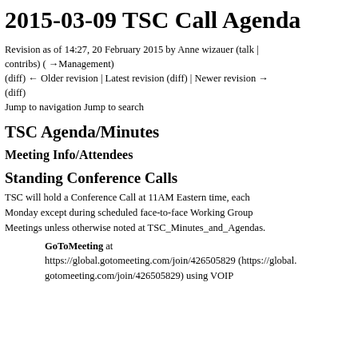2015-03-09 TSC Call Agenda
Revision as of 14:27, 20 February 2015 by Anne wizauer (talk | contribs) ( → Management)
(diff) ← Older revision | Latest revision (diff) | Newer revision → (diff)
Jump to navigation Jump to search
TSC Agenda/Minutes
Meeting Info/Attendees
Standing Conference Calls
TSC will hold a Conference Call at 11AM Eastern time, each Monday except during scheduled face-to-face Working Group Meetings unless otherwise noted at TSC_Minutes_and_Agendas.
GoToMeeting at https://global.gotomeeting.com/join/426505829 (https://global.gotomeeting.com/join/426505829) using VOIP